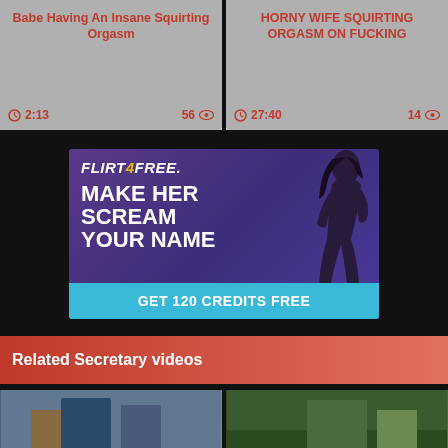Babe Having An Insane Squirting Orgasm
2:13   56
HORNY WIFE SQUIRTING ORGASM ON FUCKING
27:40   14
[Figure (illustration): Flirt4Free advertisement banner with purple background, woman figure, bold white text 'MAKE HER SCREAM YOUR NAME', light blue bottom bar with 'GET 120 CREDITS FREE']
Related Secretary videos
[Figure (photo): Video thumbnail showing a person in blue clothing]
[Figure (photo): Video thumbnail showing outdoor/nature scene]